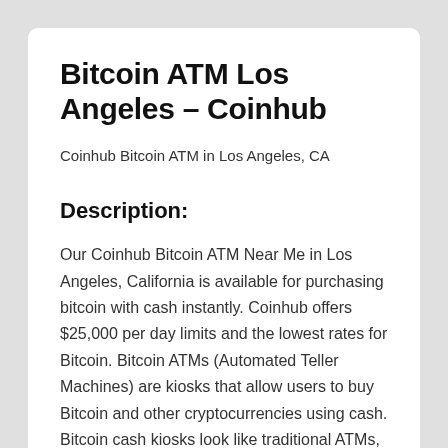Bitcoin ATM Los Angeles – Coinhub
Coinhub Bitcoin ATM in Los Angeles, CA
Description:
Our Coinhub Bitcoin ATM Near Me in Los Angeles, California is available for purchasing bitcoin with cash instantly. Coinhub offers $25,000 per day limits and the lowest rates for Bitcoin. Bitcoin ATMs (Automated Teller Machines) are kiosks that allow users to buy Bitcoin and other cryptocurrencies using cash. Bitcoin cash kiosks look like traditional ATMs, but do not connect to a bank account and instead connect the user directly to a Bitcoin wallet or exchange. Coinhub